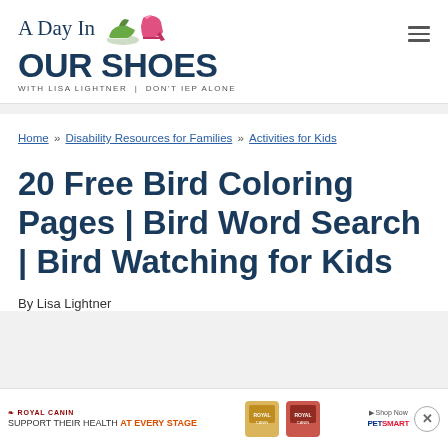A Day In OUR SHOES WITH LISA LIGHTNER | DON'T IEP ALONE
Home » Disability Resources for Families » Activities for Kids
20 Free Bird Coloring Pages | Bird Word Search | Bird Watching for Kids
By Lisa Lightner
[Figure (screenshot): Royal Canin advertisement banner: 'SUPPORT THEIR HEALTH AT EVERY STAGE' with PetSmart branding and product images]